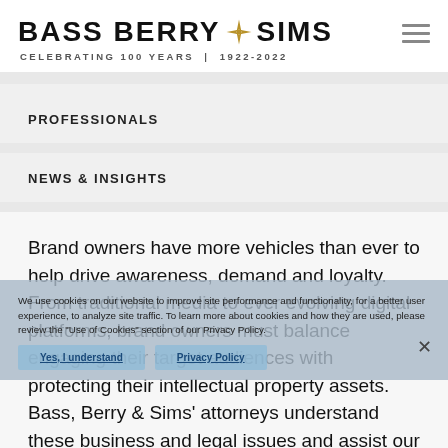[Figure (logo): Bass Berry Sims law firm logo with compass rose icon and text 'CELEBRATING 100 YEARS | 1922-2022']
PROFESSIONALS
NEWS & INSIGHTS
Brand owners have more vehicles than ever to help drive awareness, demand and loyalty. From traditional media to ever evolving digital platforms, brand owners must balance engaging their target audiences with protecting their intellectual property assets. Bass, Berry & Sims' attorneys understand these business and legal issues and assist our clients with strategies that
We use cookies on our website to improve site performance and functionality, for a better user experience, to analyze site traffic. To learn more about cookies and how they are used, please review the "Use of Cookies" section of our Privacy Policy.